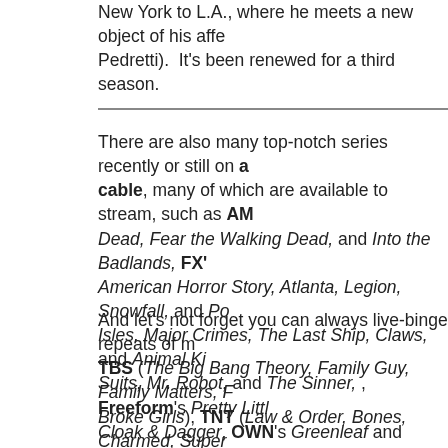New York to L.A., where he meets a new object of his affe... Pedretti). It's been renewed for a third season.
There are also many top-notch series recently or still on a cable, many of which are available to stream, such as AM... Dead, Fear the Walking Dead, and Into the Badlands, FX' American Horror Story, Atlanta, Legion, Snowfall, and Po... Isles, Major Crimes, The Last Ship, Claws, and Animal Ki... Suits, Mr. Robot, and The Sinner, , Freeform's Pretty Littl... Cloak & Dagger, OWN's Greenleaf and Queen Sugar, Pa... Yellowstone and 68 Whiskey, among others.
And let's not forget you can always live-binge repeats of m... TBS (The Big Bang Theory, Family Guy, Family Matters, F... Broke Girls), TNT (Law & Order, Bones, Charmed, Super... Orleans, Arrow), USA (Law & Order: SVU, NCIS, CSI, NC... Family, Chicago P.D., New Amsterdam), ION (Criminal Mi... NCIS: L.A., Law & Order: SVU, Law & Order: Criminal Inte... Nick-at-Nite (Full House, Friends, George Lopez, Mom,